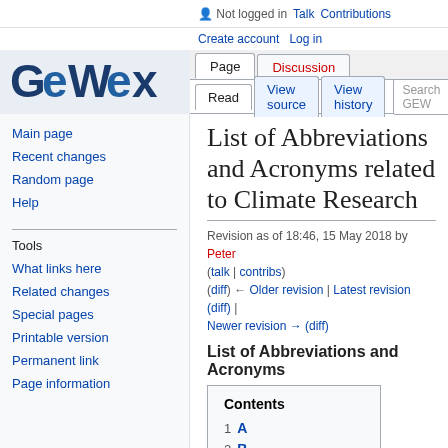Not logged in  Talk  Contributions  Create account  Log in
Page  Discussion  Read  View source  View history  Search GEW
[Figure (logo): GEWEX organization logo in blue and dark blue text on light grey background]
List of Abbreviations and Acronyms related to Climate Research
Revision as of 18:46, 15 May 2018 by Peter (talk | contribs)
(diff) ← Older revision | Latest revision (diff) | Newer revision → (diff)
List of Abbreviations and Acronyms
Main page
Recent changes
Random page
Help
What links here
Related changes
Special pages
Printable version
Permanent link
Page information
| Contents |
| --- |
| 1 | A |
| 2 | B |
| 3 | C |
| 4 | D |